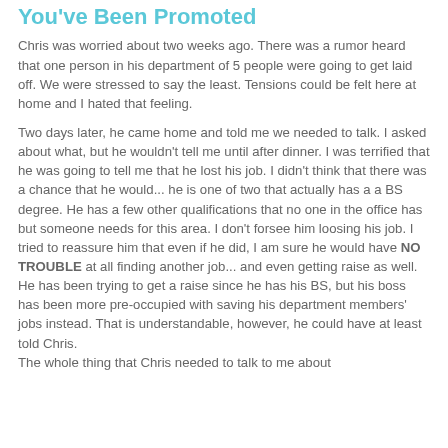You've Been Promoted
Chris was worried about two weeks ago. There was a rumor heard that one person in his department of 5 people were going to get laid off. We were stressed to say the least. Tensions could be felt here at home and I hated that feeling.
Two days later, he came home and told me we needed to talk. I asked about what, but he wouldn't tell me until after dinner. I was terrified that he was going to tell me that he lost his job. I didn't think that there was a chance that he would... he is one of two that actually has a a BS degree. He has a few other qualifications that no one in the office has but someone needs for this area. I don't forsee him loosing his job. I tried to reassure him that even if he did, I am sure he would have NO TROUBLE at all finding another job... and even getting raise as well. He has been trying to get a raise since he has his BS, but his boss has been more pre-occupied with saving his department members' jobs instead. That is understandable, however, he could have at least told Chris.
The whole thing that Chris needed to talk to me about